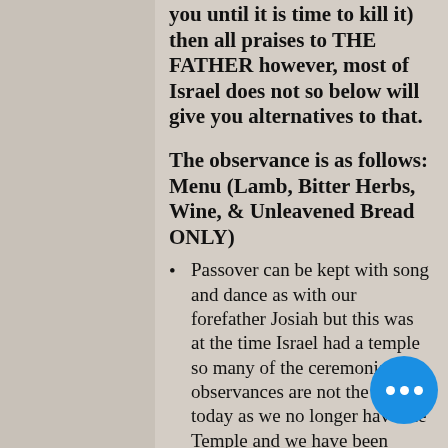you until it is time to kill it) then all praises to THE FATHER however, most of Israel does not so below will give you alternatives to that.
The observance is as follows: Menu (Lamb, Bitter Herbs, Wine, & Unleavened Bread ONLY)
Passover can be kept with song and dance as with our forefather Josiah but this was at the time Israel had a temple so many of the ceremonial observances are not the same today as we no longer have the Temple and we have been scattered in captivity. This does not mean you don't have to keep the feast it just means that the Levitical Order is no longer present in Israel.
Purchase your lamb from your